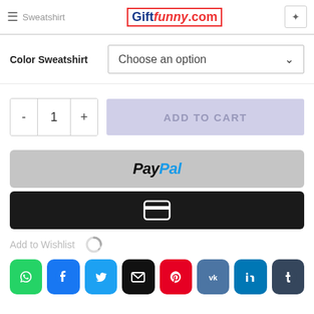Giftfunny.com — Sweatshirt
Color Sweatshirt — Choose an option
- 1 + ADD TO CART
[Figure (other): PayPal payment button (gray rounded rectangle with PayPal logo)]
[Figure (other): Credit card payment button (dark/black rounded rectangle with card icon)]
Add to Wishlist
[Figure (other): Social sharing buttons: WhatsApp, Facebook, Twitter, Email, Pinterest, VK, LinkedIn, Tumblr]